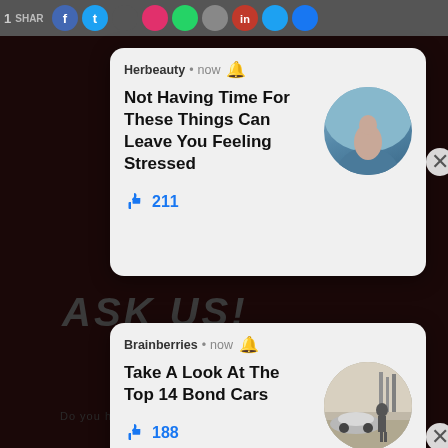[Figure (screenshot): Top bar with social sharing icons (Facebook, Twitter, etc.) partially visible]
[Figure (screenshot): Notification card from Herbeauty: 'Not Having Time For These Things Can Leave You Feeling Stressed' with 211 likes and circular image of person by pool]
[Figure (screenshot): Notification card from Brainberries: 'Take A Look At The Top 14 Bond Cars' with 188 likes and circular image of man leaning on car]
TAP HERE TO ASK:
No Thanks!
RESOURCES
NOTES EN EXAMS